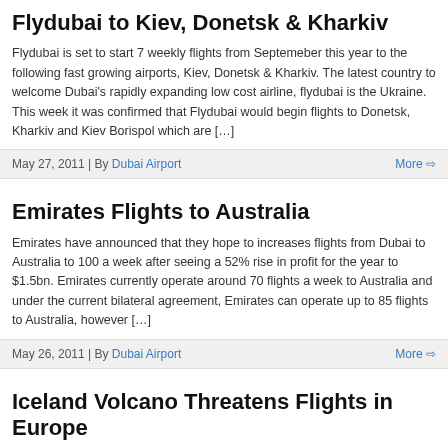Flydubai to Kiev, Donetsk & Kharkiv
Flydubai is set to start 7 weekly flights from Septemeber this year to the following fast growing airports, Kiev, Donetsk & Kharkiv. The latest country to welcome Dubai's rapidly expanding low cost airline, flydubai is the Ukraine. This week it was confirmed that Flydubai would begin flights to Donetsk, Kharkiv and Kiev Borispol which are […]
May 27, 2011 | By Dubai Airport    More ➩
Emirates Flights to Australia
Emirates have announced that they hope to increases flights from Dubai to Australia to 100 a week after seeing a 52% rise in profit for the year to $1.5bn. Emirates currently operate around 70 flights a week to Australia and under the current bilateral agreement, Emirates can operate up to 85 flights to Australia, however […]
May 26, 2011 | By Dubai Airport    More ➩
Iceland Volcano Threatens Flights in Europe
Ash from an erupting Icelandic volcano headed for Britain could force flight cancellations similar to those experience previously. The eruption of Grimsvoetn